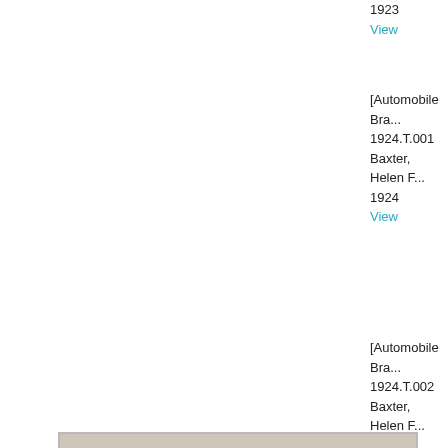1923
View
[Automobile Bra...
1924.T.001
Baxter, Helen F...
1924
View
[Figure (photo): Architectural drawing/photograph of a multi-story building facade, sepia-toned, showing a large modernist building elevation with grid-like window patterns.]
[Automobile Bra...
1924.T.002
Baxter, Helen F...
1924
View
[Automobile Bra...
1924.T.003
Baxter, Helen F...
1924
View
A Small Commu...
1924.T.004
Ford, Frederick...